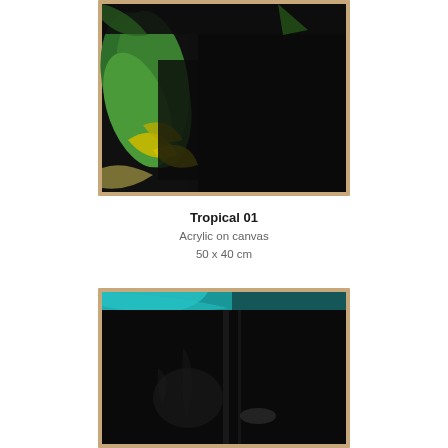[Figure (photo): Framed abstract painting with black, green, and yellow brushstrokes on canvas, shown against a white wall. The painting is in a thin natural wood frame. Bold black paint dominates the right side while green and yellow strokes appear on the left.]
Tropical 01
Acrylic on canvas
50 x 40 cm
[Figure (photo): Framed abstract painting with predominantly dark black paint and a turquoise/cyan stripe at the top, showing rough brushwork and textured surface. Thin natural wood frame.]